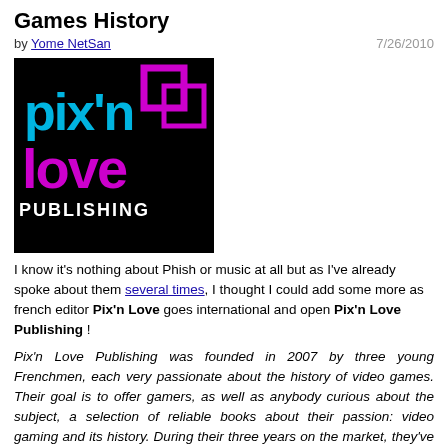Games History
by Yome NetSan  7/26/2010
[Figure (logo): Pix'n Love Publishing logo on black background with blue and magenta stylized text]
I know it's nothing about Phish or music at all but as I've already spoke about them several times, I thought I could add some more as french editor Pix'n Love goes international and open Pix'n Love Publishing !
Pix'n Love Publishing was founded in 2007 by three young Frenchmen, each very passionate about the history of video games. Their goal is to offer gamers, as well as anybody curious about the subject, a selection of reliable books about their passion: video gaming and its history. During their three years on the market, they've published, re-released, translated and written over 25 books in French. Some even became real best sellers in France and Belgium. More details...